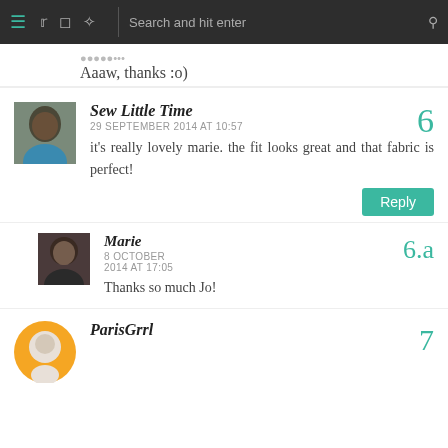Navigation bar with hamburger menu, social icons (Twitter, Instagram, Pinterest), search bar
Aaaw, thanks :o)
[Figure (photo): Avatar photo of a woman with dark hair wearing a teal/blue top]
Sew Little Time
29 SEPTEMBER 2014 AT 10:57
it's really lovely marie. the fit looks great and that fabric is perfect!
Reply
[Figure (photo): Avatar photo of a woman with short dark hair]
Marie
8 OCTOBER 2014 AT 17:05
Thanks so much Jo!
[Figure (illustration): Orange circular avatar with generic person silhouette]
ParisGrrl